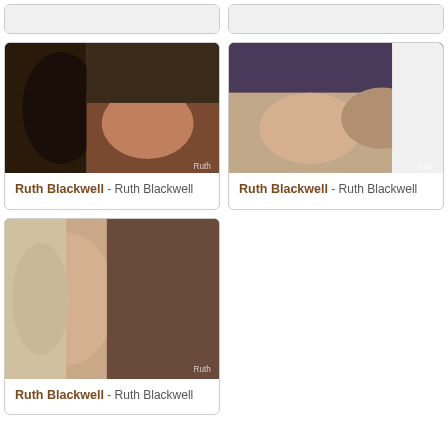[Figure (photo): Partial card top-left, mostly empty]
[Figure (photo): Partial card top-right, mostly empty]
[Figure (photo): Photo thumbnail for Ruth Blackwell card left middle]
Ruth Blackwell - Ruth Blackwell
[Figure (photo): Photo thumbnail for Ruth Blackwell card right middle]
Ruth Blackwell - Ruth Blackwell
[Figure (photo): Photo thumbnail for Ruth Blackwell card bottom left]
Ruth Blackwell - Ruth Blackwell